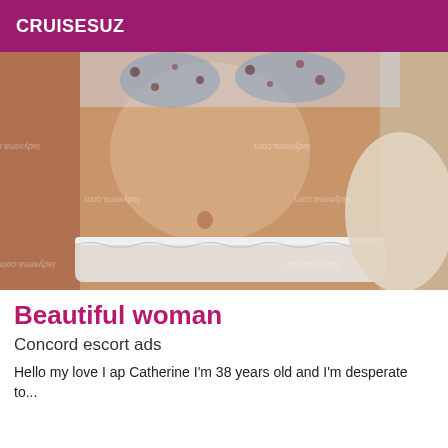CRUISESUZ
[Figure (photo): Close-up photo of a woman's torso wearing a floral patterned bra and white lace underwear, lying on a white surface. Multiple watermarks reading 'ladyxena.com' are overlaid on the image. Below the photo is a solid black bar obscuring additional content.]
Beautiful woman
Concord escort ads
Hello my love I ap Catherine I'm 38 years old and I'm desperate to...